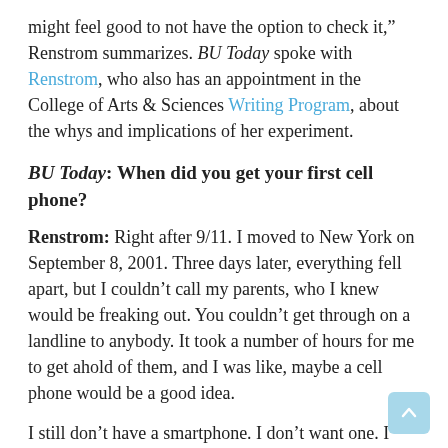might feel good to not have the option to check it,” Renstrom summarizes. BU Today spoke with Renstrom, who also has an appointment in the College of Arts & Sciences Writing Program, about the whys and implications of her experiment.
BU Today: When did you get your first cell phone?
Renstrom: Right after 9/11. I moved to New York on September 8, 2001. Three days later, everything fell apart, but I couldn’t call my parents, who I knew would be freaking out. You couldn’t get through on a landline to anybody. It took a number of hours for me to get ahold of them, and I was like, maybe a cell phone would be a good idea.
I still don’t have a smartphone. I don’t want one. I would be checking student emails from the bar when I was trying to have fun.